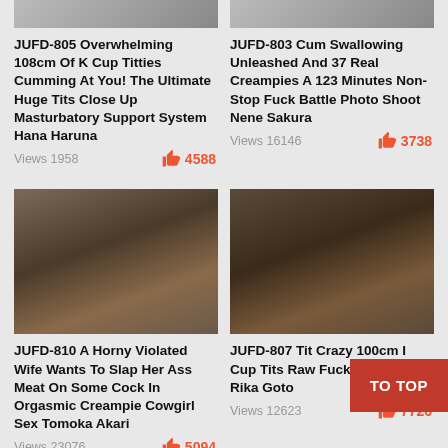[Figure (photo): Thumbnail image for JUFD-805]
JUFD-805 Overwhelming 108cm Of K Cup Titties Cumming At You! The Ultimate Huge Tits Close Up Masturbatory Support System Hana Haruna
Views 1958  4588
[Figure (photo): Thumbnail image for JUFD-803]
JUFD-803 Cum Swallowing Unleashed And 37 Real Creampies A 123 Minutes Non-Stop Fuck Battle Photo Shoot Nene Sakura
Views 16146  3738
[Figure (photo): Thumbnail image for JUFD-810]
JUFD-810 A Horny Violated Wife Wants To Slap Her Ass Meat On Some Cock In Orgasmic Creampie Cowgirl Sex Tomoka Akari
Views 23076  5094
[Figure (photo): Thumbnail image for JUFD-807]
JUFD-807 Tit Crazy 100cm I Cup Tits Raw Fuck Hospitality Rika Goto
Views 12623  7726